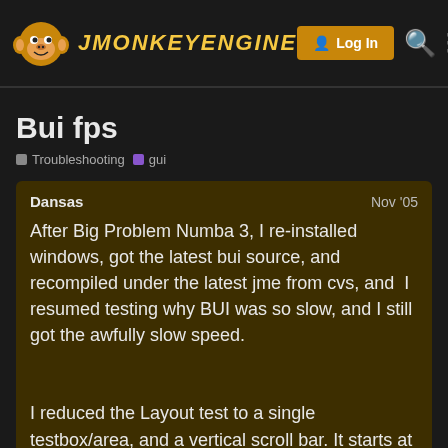jMonkeyEngine — Log In
Bui fps
Troubleshooting
gui
Dansas   Nov '05
After Big Problem Numba 3, I re-installed windows, got the latest bui source, and recompiled under the latest jme from cvs, and  I resumed testing why BUI was so slow, and I still got the awfully slow speed.
I reduced the Layout test to a single testbox/area, and a vertical scroll bar. It starts at around 40 fps, and as I get more text into the textarea/box, it quickly reduces to 20fp 10 fps. If I remove the vertical scroll bar, th
1 / 4